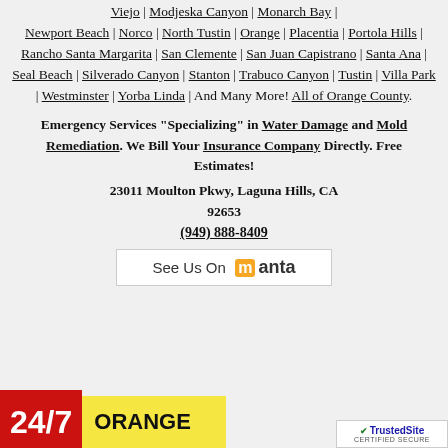Viejo | Modjeska Canyon | Monarch Bay | Newport Beach | Norco | North Tustin | Orange | Placentia | Portola Hills | Rancho Santa Margarita | San Clemente | San Juan Capistrano | Santa Ana | Seal Beach | Silverado Canyon | Stanton | Trabuco Canyon | Tustin | Villa Park | Westminster | Yorba Linda | And Many More! All of Orange County.
Emergency Services "Specializing" in Water Damage and Mold Remediation. We Bill Your Insurance Company Directly. Free Estimates!
23011 Moulton Pkwy, Laguna Hills, CA 92653
(949) 888-8409
[Figure (logo): See Us On Manta button/badge with Manta logo]
[Figure (infographic): 24/7 banner in red and yellow with ORANGE text, and TrustedSite Certified Secure badge]